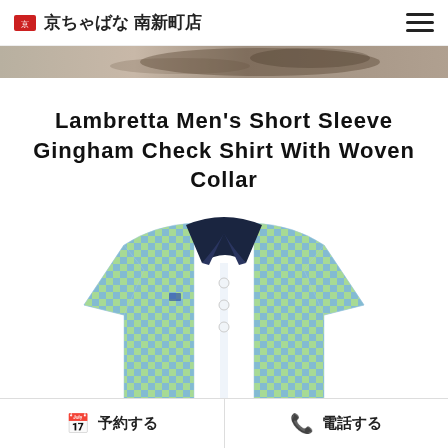京ちゃばな 南新町店
[Figure (photo): Banner strip showing a partial food/restaurant background image]
Lambretta Men's Short Sleeve Gingham Check Shirt With Woven Collar
[Figure (photo): Product photo of a Lambretta men's short sleeve gingham check shirt with navy woven collar, displayed in green and blue check pattern on white background]
予約する　電話する